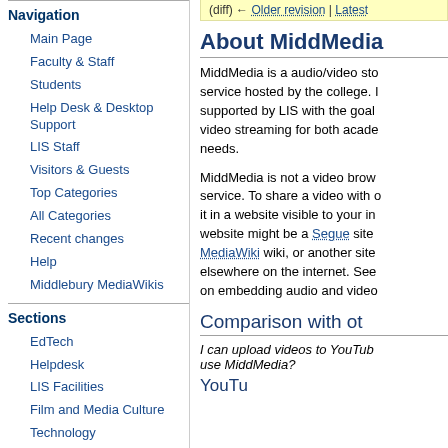Navigation
Main Page
Faculty & Staff
Students
Help Desk & Desktop Support
LIS Staff
Visitors & Guests
Top Categories
All Categories
Recent changes
Help
Middlebury MediaWikis
Sections
EdTech
Helpdesk
LIS Facilities
Film and Media Culture
Technology
(diff) ← Older revision | Latest
About MiddMedia
MiddMedia is a audio/video storage and streaming service hosted by the college. It is supported by LIS with the goal of providing video streaming for both academic and other needs.
MiddMedia is not a video browsing or social media service. To share a video with others, embed it in a website visible to your intended audience. A website might be a Segue site, a Middlebury MediaWiki wiki, or another site hosted elsewhere on the internet. See our documentation on embedding audio and video.
Comparison with other services
I can upload videos to YouTube for free. Why use MiddMedia?
YouTube